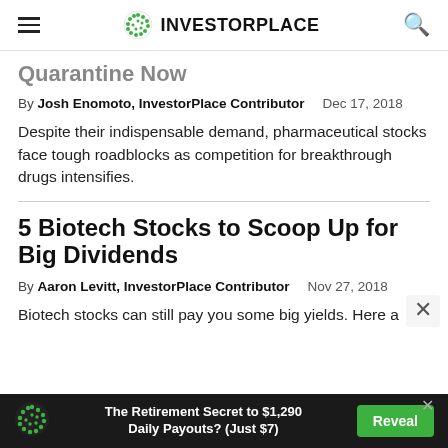INVESTORPLACE
Quarantine Now
By Josh Enomoto, InvestorPlace Contributor  Dec 17, 2018
Despite their indispensable demand, pharmaceutical stocks face tough roadblocks as competition for breakthrough drugs intensifies.
5 Biotech Stocks to Scoop Up for Big Dividends
By Aaron Levitt, InvestorPlace Contributor  Nov 27, 2018
Biotech stocks can still pay you some big yields. Here a
The Retirement Secret to $1,290 Daily Payouts? (Just $7)  Reveal